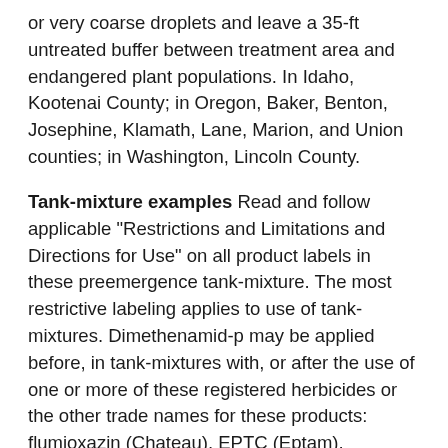or very coarse droplets and leave a 35-ft untreated buffer between treatment area and endangered plant populations. In Idaho, Kootenai County; in Oregon, Baker, Benton, Josephine, Klamath, Lane, Marion, and Union counties; in Washington, Lincoln County.
Tank-mixture examples Read and follow applicable "Restrictions and Limitations and Directions for Use" on all product labels in these preemergence tank-mixture. The most restrictive labeling applies to use of tank-mixtures. Dimethenamid-p may be applied before, in tank-mixtures with, or after the use of one or more of these registered herbicides or the other trade names for these products: flumioxazin (Chateau), EPTC (Eptam), rimsulfuron (Matrix), sethoxydim (Poast Plus), pendimethalin (Prowl H2O), clethodim (Select), metribuzin, trifluralin (Treflan HFP), glyphosate, or